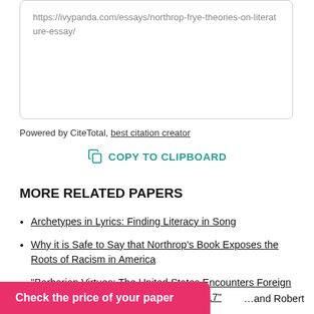https://ivypanda.com/essays/northrop-frye-theories-on-literature-essay/
Powered by CiteTotal, best citation creator
COPY TO CLIPBOARD
MORE RELATED PAPERS
Archetypes in Lyrics: Finding Literacy in Song
Why it is Safe to Say that Northrop's Book Exposes the Roots of Racism in America
“Barbarian Virtues: The United States Encounters Foreign Peoples at Home and Abroad, 1876-1917” by Matthew Frye Jacobson
and Robert
Check the price of your paper